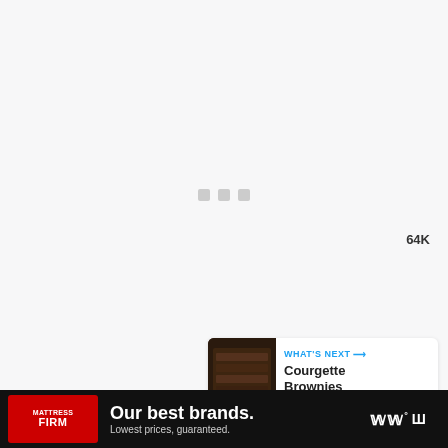[Figure (screenshot): Large white/light gray content area with three small gray loading indicator squares in the center, indicating a video or image is loading.]
[Figure (infographic): Blue circular like/heart button with 64K count below it, and a white circular share button with a share icon below.]
[Figure (infographic): What's Next card showing a thumbnail of Courgette Brownies with label 'WHAT'S NEXT' and arrow.]
[Figure (screenshot): Advertisement banner for Mattress Firm reading 'Our best brands. Lowest prices, guaranteed.' with close and info icons, and additional logo on the right.]